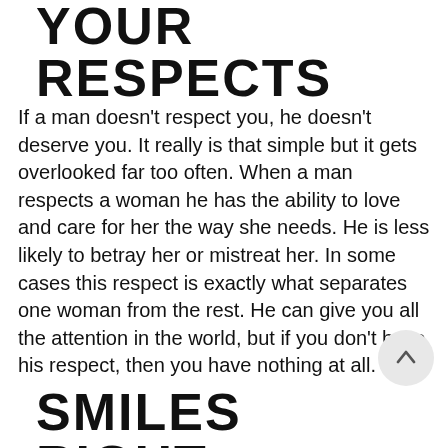YOUR RESPECTS
If a man doesn't respect you, he doesn't deserve you. It really is that simple but it gets overlooked far too often. When a man respects a woman he has the ability to love and care for her the way she needs. He is less likely to betray her or mistreat her. In some cases this respect is exactly what separates one woman from the rest. He can give you all the attention in the world, but if you don't have his respect, then you have nothing at all.
SMILES RIGHT
Smiling is good for you and the man who can make that happen with ease may truly be the guy that is best for you. A man who is truly into you wants to make you happy, and will put in the effort to put a smile on your face. When he is Mr. Right It doesn't necessarily have to be something specific he did at the moment, his mere presence can give you a boost of positive energy and make your day better. He should have the ability to uplift you and help steer you onto a more positive path.
BONUS
The one thing I left out was, he should have a genuine relationship with God. I did that because we all have different beliefs and I want to respect